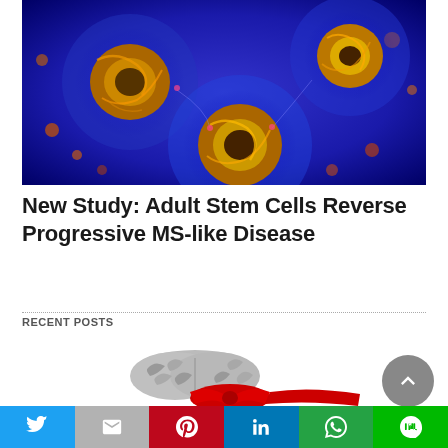[Figure (photo): Microscopic illustration of cells on blue background with orange/yellow glowing cell structures]
New Study: Adult Stem Cells Reverse Progressive MS-like Disease
RECENT POSTS
[Figure (illustration): Cartoon illustration of a grey brain with red ribbon/bow at the bottom]
[Figure (other): Social sharing toolbar with Twitter, Gmail, Pinterest, LinkedIn, WhatsApp, and LINE buttons]